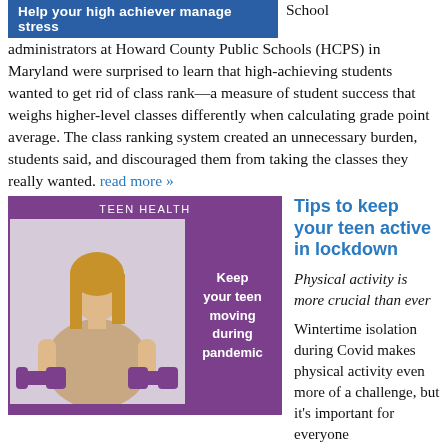Help your high achiever manage stress
School administrators at Howard County Public Schools (HCPS) in Maryland were surprised to learn that high-achieving students wanted to get rid of class rank—a measure of student success that weighs higher-level classes differently when calculating grade point average. The class ranking system created an unnecessary burden, students said, and discouraged them from taking the classes they really wanted. read more »
[Figure (photo): Teen Health infographic with a photo of a young woman holding purple dumbbells, with purple background text reading 'Keep your teen moving during pandemic']
Tips to keep your teen active in lockdown
Physical activity is more crucial than ever
Wintertime isolation during Covid makes physical activity even more of a challenge, but it's important for everyone